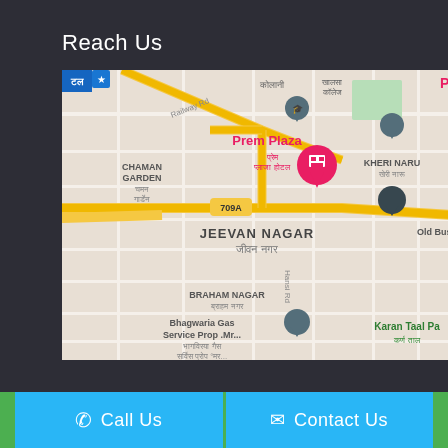Reach Us
[Figure (map): Google Maps screenshot showing Prem Plaza hotel location in Jeevan Nagar area, Hisar. Map shows surrounding areas: Chaman Garden, Kheri Naru, Braham Nagar, Jeevan Nagar. Roads including Railway Rd, Hansi Rd, and highway 709A are visible. Bhagwaria Gas Service and Karan Taal Pa also labeled. Map pin on Prem Plaza hotel.]
Call Us
Contact Us